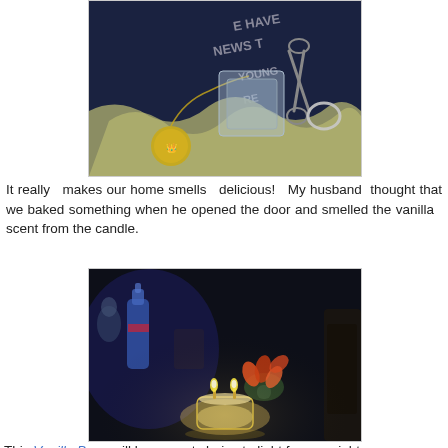[Figure (photo): A dark blue book with text 'WE HAVE NEWS TO TELL YOUNG PEOPLE', with gold jewelry items including a medallion necklace, scissors, and silver fabric laid on top.]
It really makes our home smells delicious! My husband thought that we baked something when he opened the door and smelled the vanilla scent from the candle.
[Figure (photo): A dimly lit room scene with a glowing candle in a glass container on a table, a small plant with orange flowers, a blue bottle, and other decorative items arranged around the candle.]
This Vanilla Bean will be a great choice to light for any night...